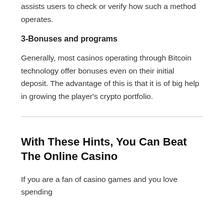assists users to check or verify how such a method operates.
3-Bonuses and programs
Generally, most casinos operating through Bitcoin technology offer bonuses even on their initial deposit. The advantage of this is that it is of big help in growing the player’s crypto portfolio.
With These Hints, You Can Beat The Online Casino
If you are a fan of casino games and you love spending